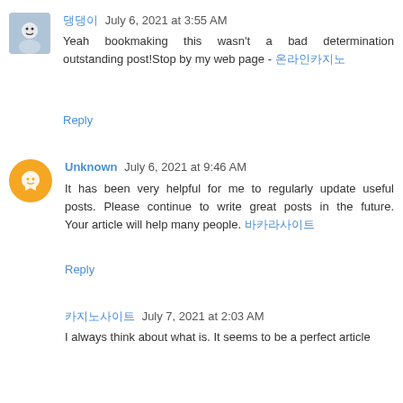댕댕이  July 6, 2021 at 3:55 AM
Yeah bookmaking this wasn't a bad determination outstanding post!Stop by my web page - 온라인카지노
Reply
Unknown  July 6, 2021 at 9:46 AM
It has been very helpful for me to regularly update useful posts. Please continue to write great posts in the future. Your article will help many people. 바카라사이트
Reply
카지노사이트  July 7, 2021 at 2:03 AM
I always think about what is. It seems to be a perfect article